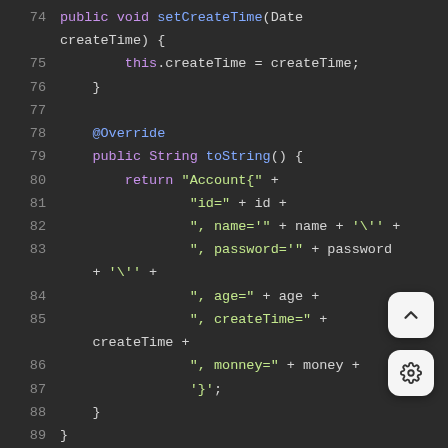[Figure (screenshot): Java source code screenshot in a dark IDE theme showing lines 74-89 of a Java class with methods setCreateTime and toString. Syntax highlighting: keywords in purple, method names in blue, string literals in green, plain code in light gray, line numbers in gray.]